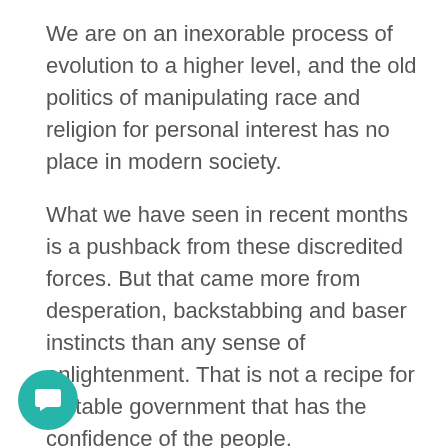We are on an inexorable process of evolution to a higher level, and the old politics of manipulating race and religion for personal interest has no place in modern society.
What we have seen in recent months is a pushback from these discredited forces. But that came more from desperation, backstabbing and baser instincts than any sense of enlightenment. That is not a recipe for a stable government that has the confidence of the people.
Quite a bit is happening behind-the-scenes, away from the public eye. Meetings and more meetings involving PH leaders.